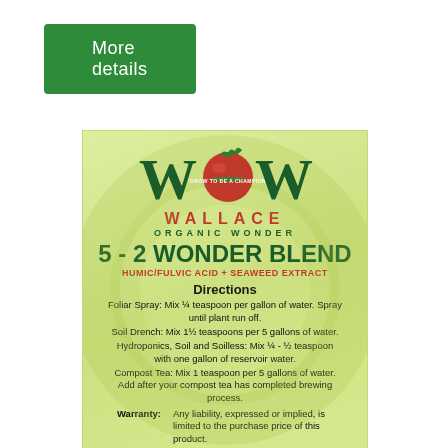More details
[Figure (logo): WOW Wallace Organic Wonder logo with tomato graphic between W and W letters, on light green product label background]
5 - 2 WONDER BLEND
HUMIC/FULVIC ACID + SEAWEED EXTRACT
Directions
Foliar Spray: Mix ¼ teaspoon per gallon of water. Spray until plant run off.
Soil Drench: Mix 1½ teaspoons per 5 gallons of water.
Hydroponics, Soil and Soilless: Mix ¼ - ½ teaspoon with one gallon of reservoir water.
Compost Tea: Mix 1 teaspoon per 5 gallons of water. Add after your compost tea has completed brewing process.
Warranty: Any liability, expressed or implied, is limited to the purchase price of this product.
Caution: Keep out of reach of children and animals. Harmful if swallowed.